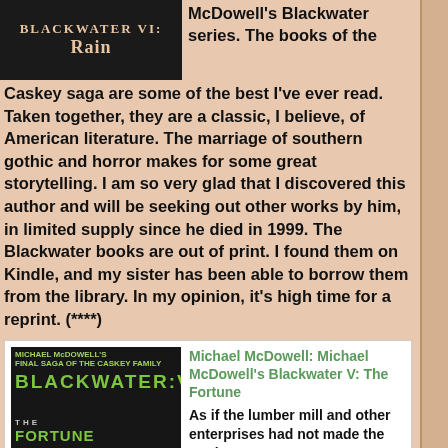[Figure (illustration): Book cover for Blackwater VI: Rain, dark background with white/cream text]
McDowell's Blackwater series. The books of the Caskey saga are some of the best I've ever read. Taken together, they are a classic, I believe, of American literature. The marriage of southern gothic and horror makes for some great storytelling. I am so very glad that I discovered this author and will be seeking out other works by him, in limited supply since he died in 1999. The Blackwater books are out of print. I found them on Kindle, and my sister has been able to borrow them from the library. In my opinion, it's high time for a reprint. (****)
[Figure (illustration): Book cover for Blackwater V: The Fortune, dark background with green text and glowing eye imagery]
Michael McDowell: Michael McDowell's Blackwater V: The Fortune
As if the lumber mill and other enterprises had not made the Caskeys